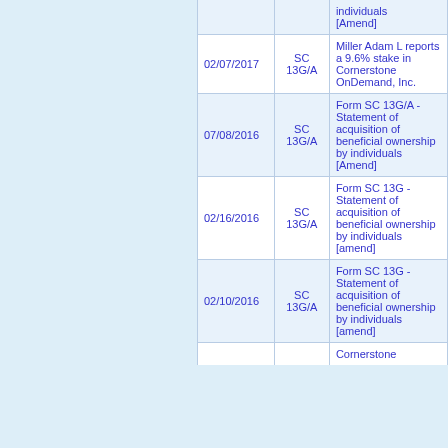| Date | Form | Description |
| --- | --- | --- |
|  |  | individuals [Amend] |
| 02/07/2017 | SC 13G/A | Miller Adam L reports a 9.6% stake in Cornerstone OnDemand, Inc. |
| 07/08/2016 | SC 13G/A | Form SC 13G/A - Statement of acquisition of beneficial ownership by individuals [Amend] |
| 02/16/2016 | SC 13G/A | Form SC 13G - Statement of acquisition of beneficial ownership by individuals [amend] |
| 02/10/2016 | SC 13G/A | Form SC 13G - Statement of acquisition of beneficial ownership by individuals [amend] |
|  |  | Cornerstone... |